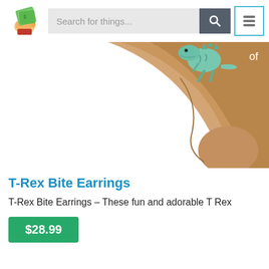[Figure (logo): Hand holding cash bills logo (site mascot/logo)]
Search for things...
[Figure (screenshot): Close-up photo of a teal/green dinosaur T-Rex earring biting a human ear, with text 'of' in top right corner]
T-Rex Bite Earrings
T-Rex Bite Earrings – These fun and adorable T Rex
$28.99